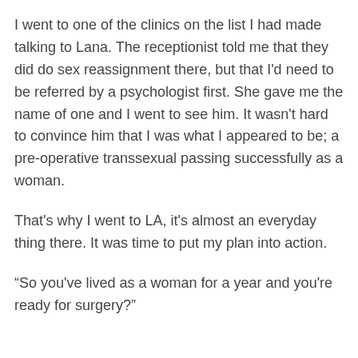I went to one of the clinics on the list I had made talking to Lana. The receptionist told me that they did do sex reassignment there, but that I'd need to be referred by a psychologist first. She gave me the name of one and I went to see him. It wasn't hard to convince him that I was what I appeared to be; a pre-operative transsexual passing successfully as a woman.
That's why I went to LA, it's almost an everyday thing there. It was time to put my plan into action.
“So you've lived as a woman for a year and you're ready for surgery?”